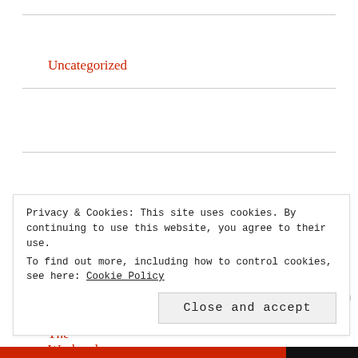Uncategorized
Recent Posts
The Weekend that Changed Everything
Mask to Save
Blog Update
Privacy & Cookies: This site uses cookies. By continuing to use this website, you agree to their use.
To find out more, including how to control cookies, see here: Cookie Policy
Close and accept